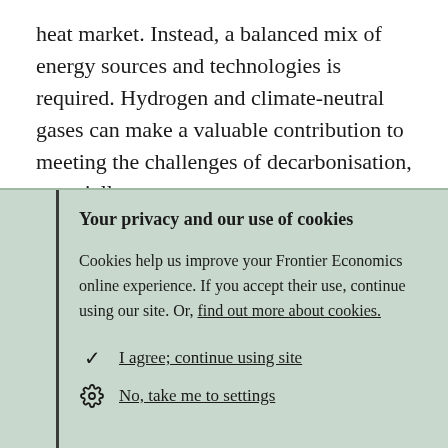heat market. Instead, a balanced mix of energy sources and technologies is required. Hydrogen and climate-neutral gases can make a valuable contribution to meeting the challenges of decarbonisation, especially
Your privacy and our use of cookies
Cookies help us improve your Frontier Economics online experience. If you accept their use, continue using our site. Or, find out more about cookies.
I agree; continue using site
No, take me to settings